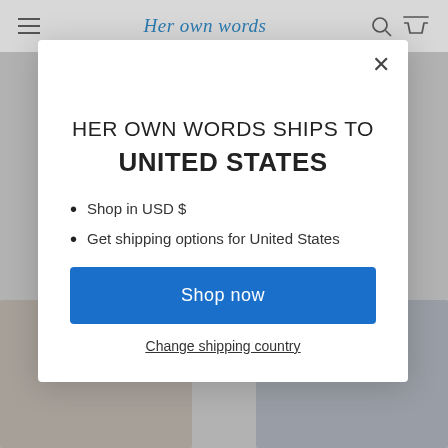Her own words
[Figure (screenshot): Website background showing a yoga/wellness site with two photos at the bottom — a person in yoga pose on the left and feet/legs on the right, overlaid by a modal popup dialog.]
HER OWN WORDS SHIPS TO UNITED STATES
Shop in USD $
Get shipping options for United States
Shop now
Change shipping country